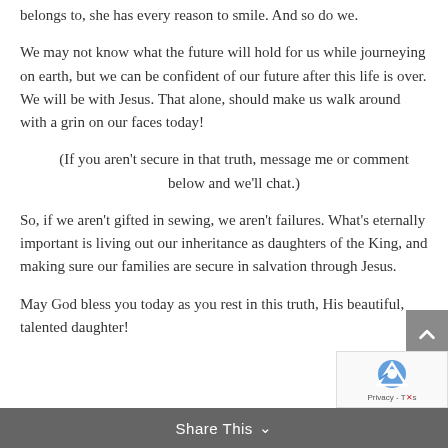belongs to, she has every reason to smile. And so do we.
We may not know what the future will hold for us while journeying on earth, but we can be confident of our future after this life is over. We will be with Jesus. That alone, should make us walk around with a grin on our faces today!
(If you aren't secure in that truth, message me or comment below and we'll chat.)
So, if we aren't gifted in sewing, we aren't failures. What's eternally important is living out our inheritance as daughters of the King, and making sure our families are secure in salvation through Jesus.
May God bless you today as you rest in this truth, His beautiful, talented daughter!
Share This